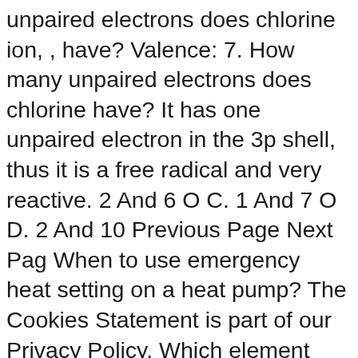unpaired electrons does chlorine ion, , have? Valence: 7. How many unpaired electrons does chlorine have? It has one unpaired electron in the 3p shell, thus it is a free radical and very reactive. 2 And 6 O C. 1 And 7 O D. 2 And 10 Previous Page Next Pag When to use emergency heat setting on a heat pump? The Cookies Statement is part of our Privacy Policy. Which element contains seven electrons in its 3d orbitals (manganese, iron, nickel or cobalt) cobalt. Personalized courses, with or without credits. The neutral atom chlorine (Z=17), for instance has 17 electrons. Not Yet Answered Marked Out Of 2.00 Select One: O A. The chloride ion (Cl− ), on the other hand, has an additional electron for a total of 18 electrons. What are the fundamental axes of dumpy level? 0 And 2 Flag Question O B. There are _____ unpaired electrons in a ground state chlorine atom. The electronic configuration for Cl atom is 1s2 2s2 2p6 3s2 3p5. Core: 10. How many unpaired electrons are in a...